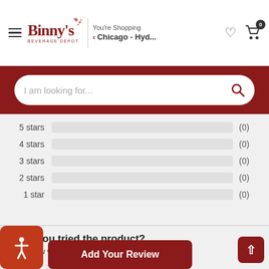[Figure (screenshot): Binny's Beverage Depot website header with logo, location selector showing Chicago - Hyd..., heart icon, and cart icon with 0 items]
[Figure (screenshot): Dark red search bar with white rounded search box containing placeholder text 'I am looking for...' and a red search icon]
5 stars (0)
4 stars (0)
3 stars (0)
2 stars (0)
1 star (0)
Have you tried the product?
hers know what you think about it
t a rating
[Figure (screenshot): Add Your Review button in dark red, accessibility icon, back to top button]